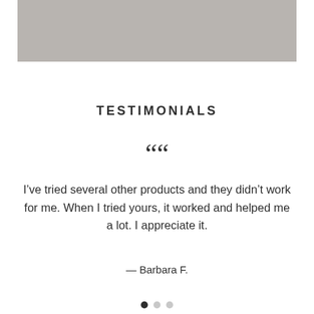[Figure (photo): Gray placeholder image at top of page]
TESTIMONIALS
““
I’ve tried several other products and they didn’t work for me. When I tried yours, it worked and helped me a lot. I appreciate it.
— Barbara F.